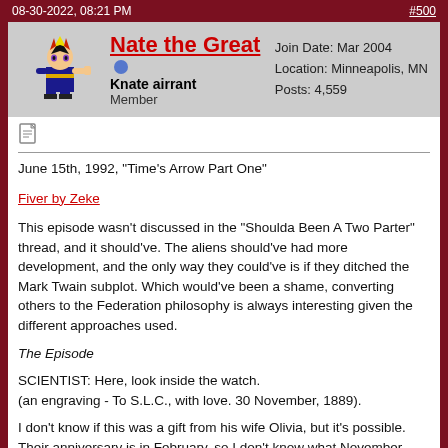08-30-2022, 08:21 PM  #500
Nate the Great [online] Knate airrant Member  Join Date: Mar 2004  Location: Minneapolis, MN  Posts: 4,559
[Figure (illustration): Pixel art avatar of a Yu-Gi-Oh style character (Yugi Muto), dark blue outfit, spiky hair with red highlights, pointing pose]
June 15th, 1992, "Time's Arrow Part One"
Fiver by Zeke
This episode wasn't discussed in the "Shoulda Been A Two Parter" thread, and it should've. The aliens should've had more development, and the only way they could've is if they ditched the Mark Twain subplot. Which would've been a shame, converting others to the Federation philosophy is always interesting given the different approaches used.
The Episode
SCIENTIST: Here, look inside the watch.
(an engraving - To S.L.C., with love. 30 November, 1889).
I don't know if this was a gift from his wife Olivia, but it's possible. Their anniversary is in February, so I don't know what November 30th could represent. Maybe it's from an old family friend, who knows.
PICARD: Ti...